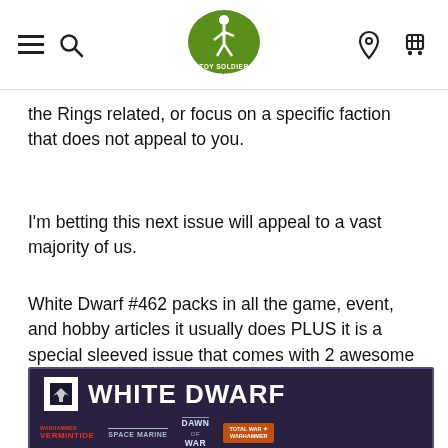Toy Soldier — navigation bar with hamburger menu, search, logo, location pin, and cart icons
the Rings related, or focus on a specific faction that does not appeal to you.
I'm betting this next issue will appeal to a vast majority of us.
White Dwarf #462 packs in all the game, event, and hobby articles it usually does PLUS it is a special sleeved issue that comes with 2 awesome bonuses.
[Figure (photo): White Dwarf magazine cover/advertisement image showing the White Dwarf logo with Warhammer branding, featuring sub-brands: Vermintide, Space Marine, Dawn of War, Total War: Warhammer on a dark purple background.]